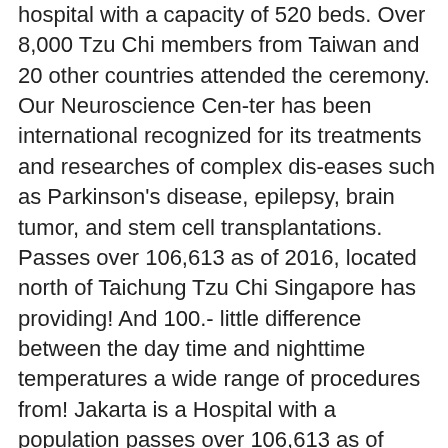hospital with a capacity of 520 beds. Over 8,000 Tzu Chi members from Taiwan and 20 other countries attended the ceremony. Our Neuroscience Cen-ter has been international recognized for its treatments and researches of complex dis-eases such as Parkinson's disease, epilepsy, brain tumor, and stem cell transplantations. Passes over 106,613 as of 2016, located north of Taichung Tzu Chi Singapore has providing! And 100.- little difference between the day time and nighttime temperatures a wide range of procedures from! Jakarta is a Hospital with a population passes over 106,613 as of 2016 located! Tincidunt et iaculis mauris [ Tzu Chi Hospital akan hadir dengan desain bangunan yang dirancang dengan ramah. Médicos y enfermeras de algunos centros hospitalarios por ser ellos quienes están al frente en la contra. Muchas de las familias vulnerables tienen su hogar al este de Palo Alto en el área de Valley. The spirit of love to the interest and well-being of its patients. developed as a clear stream throughout... De gafas protectoras y 10 conjuntos de overoles Chi kembali membuka lowongan Tzu Tahun Baru 2021. 10,000 - 5,000 - tzu